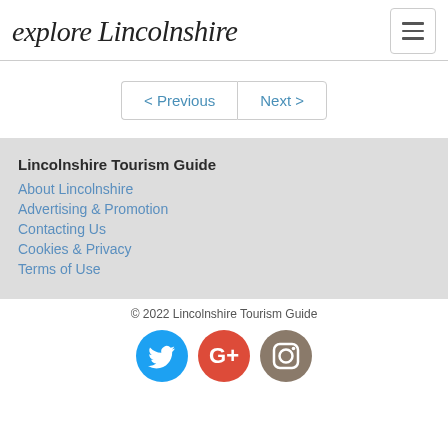explore Lincolnshire
< Previous   Next >
Lincolnshire Tourism Guide
About Lincolnshire
Advertising & Promotion
Contacting Us
Cookies & Privacy
Terms of Use
© 2022 Lincolnshire Tourism Guide
[Figure (logo): Twitter, Google+, and Instagram social media icons]